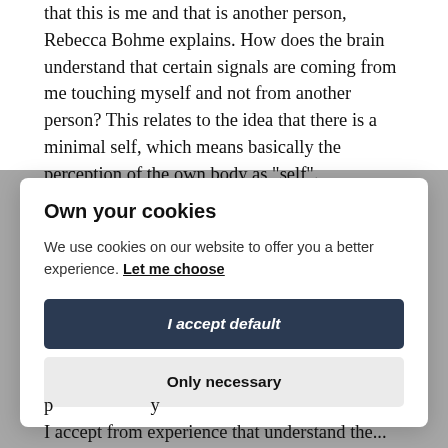that this is me and that is another person, Rebecca Bohme explains. How does the brain understand that certain signals are coming from me touching myself and not from another person? This relates to the idea that there is a minimal self, which means basically the perception of the own body as "self". - We all need this minimal self, and it develops very early in life, already in the womb. The other senses as for example
[Figure (screenshot): Cookie consent modal dialog with title 'Own your cookies', body text about cookies, a 'Let me choose' underlined link, an 'I accept default' dark navy button, and an 'Only necessary' light gray button.]
I accept from experience that understand the...